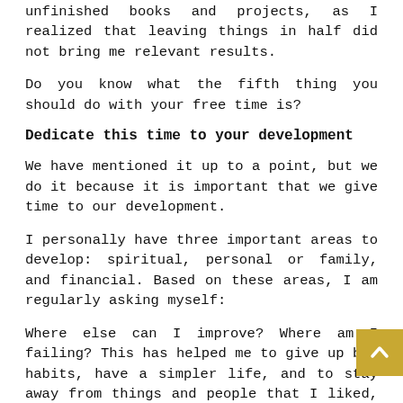unfinished books and projects, as I realized that leaving things in half did not bring me relevant results.
Do you know what the fifth thing you should do with your free time is?
Dedicate this time to your development
We have mentioned it up to a point, but we do it because it is important that we give time to our development.
I personally have three important areas to develop: spiritual, personal or family, and financial. Based on these areas, I am regularly asking myself:
Where else can I improve? Where am I failing? This has helped me to give up bad habits, have a simpler life, and to stay away from things and people that I liked, but that hurt me.